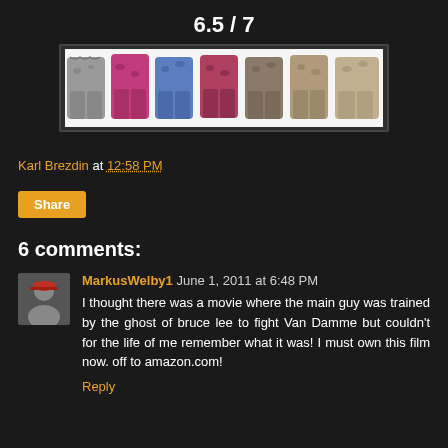6.5 / 7
[Figure (photo): Row of colorful camouflage patterned pants in various colors including gray, pink/magenta, blue, and brown displayed side by side on white background]
Karl Brezdin at 12:58 PM
Share
6 comments:
MarkusWelby1 June 1, 2011 at 6:48 PM
I thought there was a movie where the main guy was trained by the ghost of bruce lee to fight Van Damme but couldn't for the life of me remember what it was! I must own this film now. off to amazon.com!
Reply